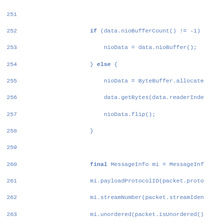[Figure (screenshot): Source code listing lines 251-278 in a monospace font with blue line numbers, showing Java code with if/else blocks, MessageInfo usage, ch.send, written++, in.remove(), writableKeysIt.hasNext() check, and a filterOutboundMessage method declaration.]